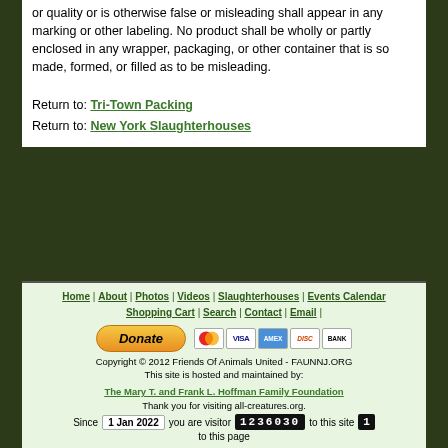or quality or is otherwise false or misleading shall appear in any marking or other labeling. No product shall be wholly or partly enclosed in any wrapper, packaging, or other container that is so made, formed, or filled as to be misleading.
Return to: Tri-Town Packing
Return to: New York Slaughterhouses
Home | About | Photos | Videos | Slaughterhouses | Events Calendar | Shopping Cart | Search | Contact | Email | [Donate button] [payment card icons] Copyright © 2012 Friends Of Animals United - FAUNNJ.ORG This site is hosted and maintained by: The Mary T. and Frank L. Hoffman Family Foundation Thank you for visiting all-creatures.org. Since 1 Jan 2022 you are visitor 1236030 to this site 1 to this page